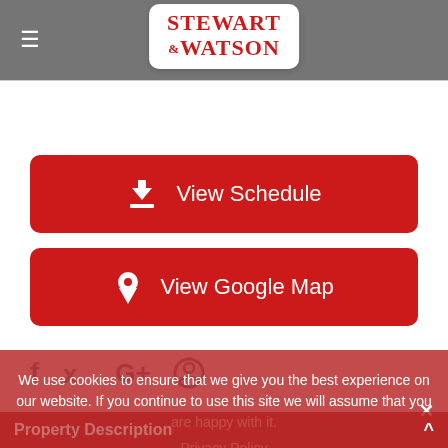[Figure (logo): Stewart & Watson real estate company logo with red serif text on white rounded rectangle background, set in grey header bar with hamburger menu icon]
View Schedule
View Google Map
[Figure (infographic): Social media icons row: Facebook (f), Twitter (bird), Google+ (G+), Pinterest (P) in grey-blue color]
We use cookies to ensure that we give you the best experience on our website. If you continue to use this site we will assume that you are happy with it.
Privacy Policy
Property Description